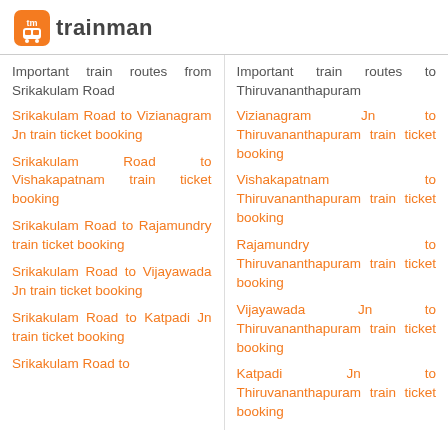trainman
Important train routes from Srikakulam Road
Srikakulam Road to Vizianagram Jn train ticket booking
Srikakulam Road to Vishakapatnam train ticket booking
Srikakulam Road to Rajamundry train ticket booking
Srikakulam Road to Vijayawada Jn train ticket booking
Srikakulam Road to Katpadi Jn train ticket booking
Srikakulam Road to
Important train routes to Thiruvananthapuram
Vizianagram Jn to Thiruvananthapuram train ticket booking
Vishakapatnam to Thiruvananthapuram train ticket booking
Rajamundry to Thiruvananthapuram train ticket booking
Vijayawada Jn to Thiruvananthapuram train ticket booking
Katpadi Jn to Thiruvananthapuram train ticket booking